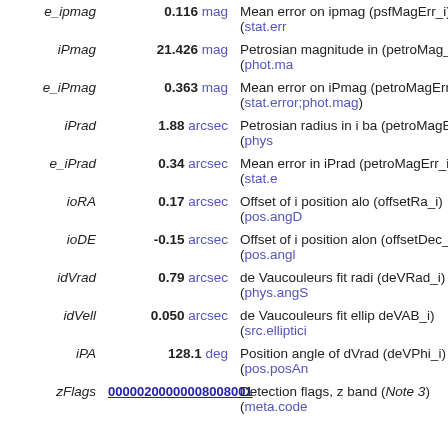| Name | Value | Description |
| --- | --- | --- |
| e_ipmag | 0.116 mag | Mean error on ipmag (psfMagErr_i) (stat.err… |
| iPmag | 21.426 mag | Petrosian magnitude in… (petroMag_i) (phot.ma… |
| e_iPmag | 0.363 mag | Mean error on iPmag (petroMagErr_i) (stat.error;phot.mag) |
| iPrad | 1.88 arcsec | Petrosian radius in i ba… (petroMagErr_i) (phys… |
| e_iPrad | 0.34 arcsec | Mean error in iPrad (petroMagErr_i) (stat.e… |
| ioRA | 0.17 arcsec | Offset of i position alo… (offsetRa_i) (pos.angD… |
| ioDE | -0.15 arcsec | Offset of i position alo… (offsetDec_i) (pos.angl… |
| idVrad | 0.79 arcsec | de Vaucouleurs fit radi… (deVRad_i) (phys.angS… |
| idVell | 0.050 arcsec | de Vaucouleurs fit ellip… deVAB_i) (src.elliptici… |
| iPA | 128.1 deg | Position angle of dVrad… (deVPhi_i) (pos.posAn… |
| zFlags | 00000200000008008001 | Detection flags, z band… (Note 3) (meta.code… |